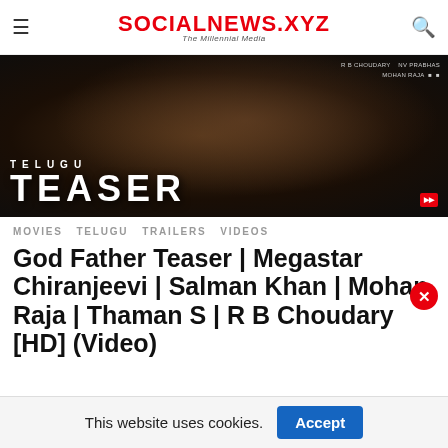SOCIALNEWS.XYZ — The Millennial Media
[Figure (photo): Movie promotional banner for God Father Telugu Teaser featuring a man in dark clothing holding a gun, with large text 'TELUGU TEASER' at the bottom]
MOVIES  TELUGU  TRAILERS  VIDEOS
God Father Teaser | Megastar Chiranjeevi | Salman Khan | Mohan Raja | Thaman S | R B Choudary [HD] (Video)
This website uses cookies.  Accept